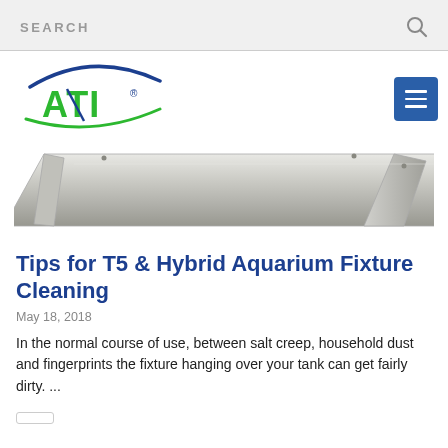SEARCH
[Figure (logo): ATI logo with green bold letters and dark blue swoosh arc, green underline arc]
[Figure (photo): ATI aquarium T5 fixture viewed from above at an angle, metallic silver/grey rectangular lighting unit]
Tips for T5 & Hybrid Aquarium Fixture Cleaning
May 18, 2018
In the normal course of use, between salt creep, household dust and fingerprints the fixture hanging over your tank can get fairly dirty. ...